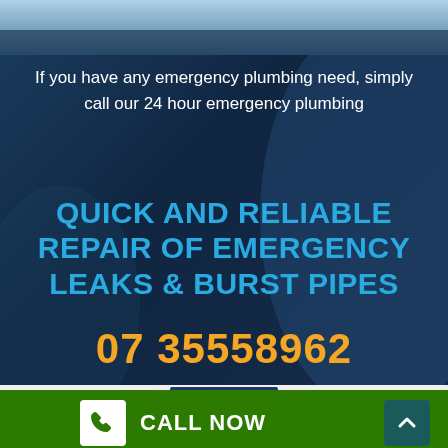[Figure (photo): Dark blue background photo of plumbing equipment/pipes with dark overlay]
If you have any emergency plumbing need, simply call our 24 hour emergency plumbing
QUICK AND RELIABLE REPAIR OF EMERGENCY LEAKS & BURST PIPES
07 35558962
[Figure (screenshot): Grey bar with navy button partially visible]
CALL NOW